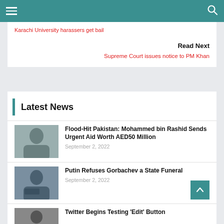Navigation bar with hamburger menu and search icon
Karachi University harassers get bail
Read Next
Supreme Court issues notice to PM Khan
Latest News
Flood-Hit Pakistan: Mohammed bin Rashid Sends Urgent Aid Worth AED50 Million
September 2, 2022
Putin Refuses Gorbachev a State Funeral
September 2, 2022
Twitter Begins Testing 'Edit' Button